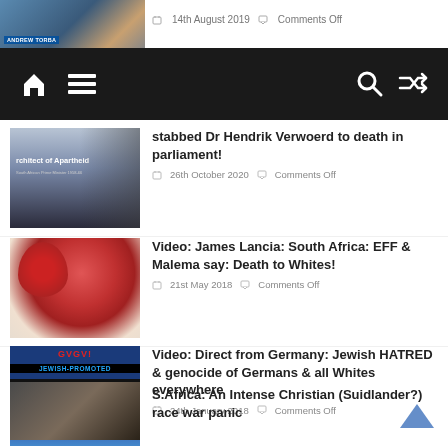[Figure (screenshot): Partial article thumbnail showing Andrew Torba with news lower-third graphic]
14th August 2019  Comments Off
[Figure (screenshot): Dark navigation bar with home icon, hamburger menu, search and shuffle icons]
stabbed Dr Hendrik Verwoerd to death in parliament!
26th October 2020  Comments Off
[Figure (photo): Man in red beret laughing - EFF article thumbnail]
Video: James Lancia: South Africa: EFF & Malema say: Death to Whites!
21st May 2018  Comments Off
[Figure (photo): Jewish-Promoted White Genocide graphic with child and Star of David imagery]
Video: Direct from Germany: Jewish HATRED & genocide of Germans & all Whites everywhere
24th January 2018  Comments Off
[Figure (photo): Dark photo thumbnail for South Africa Christian article]
S.Africa: An Intense Christian (Suidlander?) race war panic